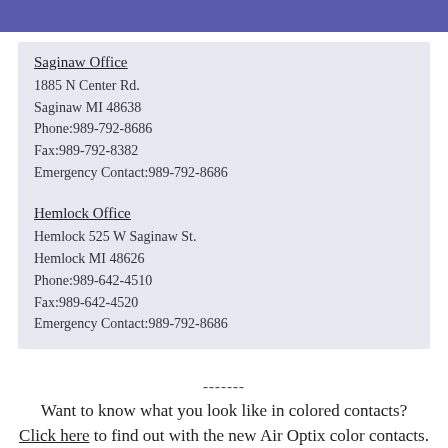Saginaw Office
1885 N Center Rd.
Saginaw MI 48638
Phone:989-792-8686
Fax:989-792-8382
Emergency Contact:989-792-8686
Hemlock Office
Hemlock 525 W Saginaw St.
Hemlock MI 48626
Phone:989-642-4510
Fax:989-642-4520
Emergency Contact:989-792-8686
-------
Want to know what you look like in colored contacts? Click here to find out with the new Air Optix color contacts.
---------